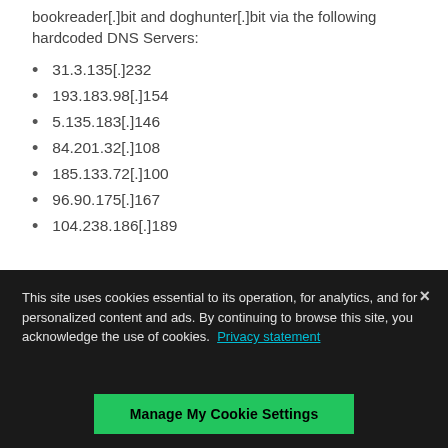bookreader[.]bit and doghunter[.]bit via the following hardcoded DNS Servers:
31.3.135[.]232
193.183.98[.]154
5.135.183[.]146
84.201.32[.]108
185.133.72[.]100
96.90.175[.]167
104.238.186[.]189
This site uses cookies essential to its operation, for analytics, and for personalized content and ads. By continuing to browse this site, you acknowledge the use of cookies. Privacy statement
Manage My Cookie Settings